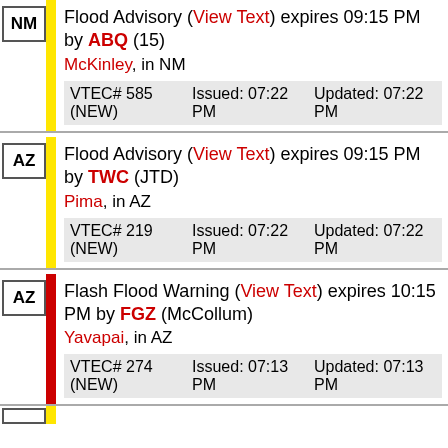NM - Flood Advisory (View Text) expires 09:15 PM by ABQ (15) McKinley, in NM VTEC# 585 (NEW) Issued: 07:22 PM Updated: 07:22 PM
AZ - Flood Advisory (View Text) expires 09:15 PM by TWC (JTD) Pima, in AZ VTEC# 219 (NEW) Issued: 07:22 PM Updated: 07:22 PM
AZ - Flash Flood Warning (View Text) expires 10:15 PM by FGZ (McCollum) Yavapai, in AZ VTEC# 274 (NEW) Issued: 07:13 PM Updated: 07:13 PM